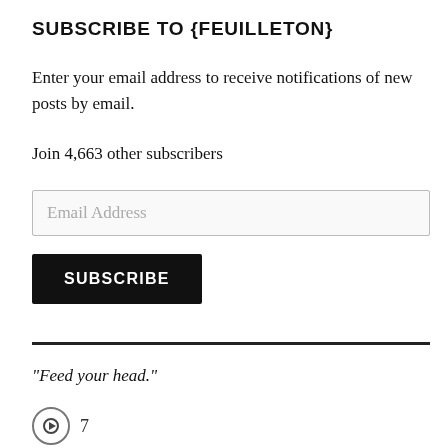SUBSCRIBE TO {FEUILLETON}
Enter your email address to receive notifications of new posts by email.
Join 4,663 other subscribers
[Figure (other): Email address input field with placeholder text 'Email Address']
[Figure (other): Black SUBSCRIBE button]
"Feed your head."
[Figure (other): Social media share icon with count 7]